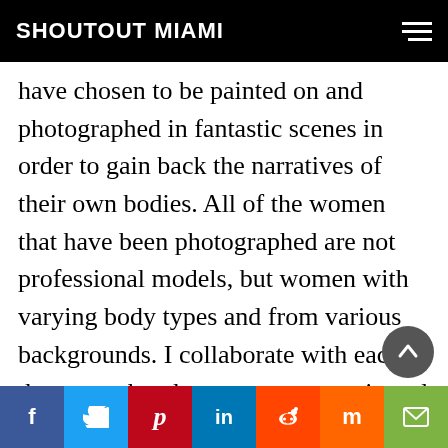SHOUTOUT MIAMI
have chosen to be painted on and photographed in fantastic scenes in order to gain back the narratives of their own bodies. All of the women that have been photographed are not professional models, but women with varying body types and from various backgrounds. I collaborate with each of them on what they want communicated through the photography and the whole art direction of the shoots. I spend months developing a look. Everything from the art direction, to the body painting, to the photography is done by me. It was a life changing body of work for me, as it helped me discover parts of myself that I didn't know al...
f  t  p  in  r  m  ✉